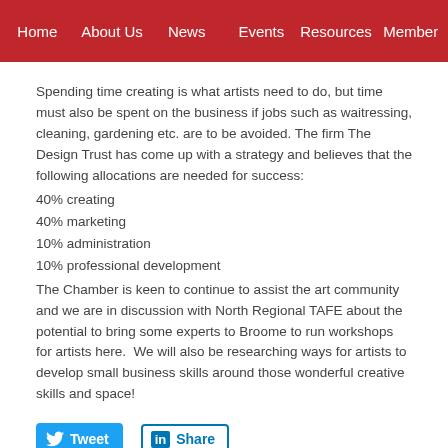Home | About Us | News | Events | Resources | Member
Spending time creating is what artists need to do, but time must also be spent on the business if jobs such as waitressing, cleaning, gardening etc. are to be avoided. The firm The Design Trust has come up with a strategy and believes that the following allocations are needed for success:
40% creating
40% marketing
10% administration
10% professional development
The Chamber is keen to continue to assist the art community and we are in discussion with North Regional TAFE about the potential to bring some experts to Broome to run workshops for artists here. We will also be researching ways for artists to develop small business skills around those wonderful creative skills and space!
[Figure (other): Tweet and LinkedIn Share social buttons]